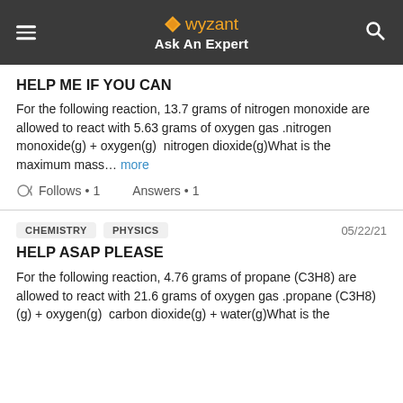wyzant Ask An Expert
HELP ME IF YOU CAN
For the following reaction, 13.7 grams of nitrogen monoxide are allowed to react with 5.63 grams of oxygen gas .nitrogen monoxide(g) + oxygen(g)  nitrogen dioxide(g)What is the maximum mass… more
Follows • 1    Answers • 1
CHEMISTRY    PHYSICS    05/22/21
HELP ASAP PLEASE
For the following reaction, 4.76 grams of propane (C3H8) are allowed to react with 21.6 grams of oxygen gas .propane (C3H8)(g) + oxygen(g)  carbon dioxide(g) + water(g)What is the